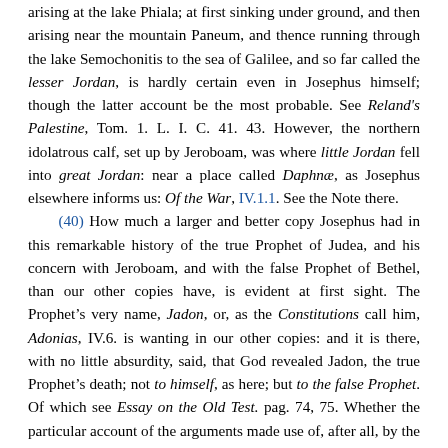arising at the lake Phiala; at first sinking under ground, and then arising near the mountain Paneum, and thence running through the lake Semochonitis to the sea of Galilee, and so far called the lesser Jordan, is hardly certain even in Josephus himself; though the latter account be the most probable. See Reland's Palestine, Tom. 1. L. I. C. 41. 43. However, the northern idolatrous calf, set up by Jeroboam, was where little Jordan fell into great Jordan: near a place called Daphnæ, as Josephus elsewhere informs us: Of the War, IV.1.1. See the Note there.
(40) How much a larger and better copy Josephus had in this remarkable history of the true Prophet of Judea, and his concern with Jeroboam, and with the false Prophet of Bethel, than our other copies have, is evident at first sight. The Prophet's very name, Jadon, or, as the Constitutions call him, Adonias, IV.6. is wanting in our other copies: and it is there, with no little absurdity, said, that God revealed Jadon, the true Prophet's death; not to himself, as here; but to the false Prophet. Of which see Essay on the Old Test. pag. 74, 75. Whether the particular account of the arguments made use of, after all, by the false Prophet, against his own belief, and his own conscience, in